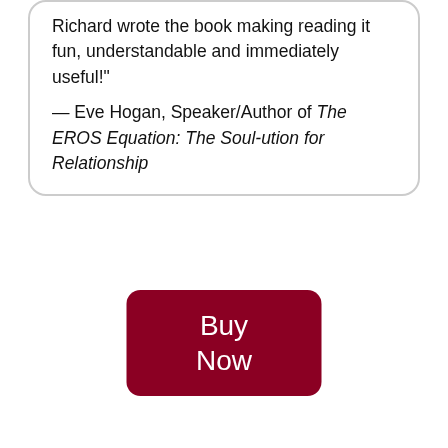Richard wrote the book making reading it fun, understandable and immediately useful!"

— Eve Hogan, Speaker/Author of The EROS Equation: The Soul-ution for Relationship
Buy Now